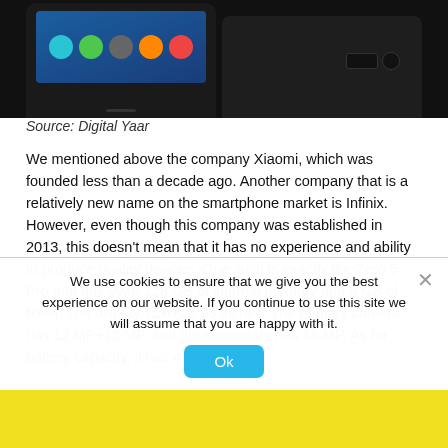[Figure (photo): Two smartphones shown side by side — front view of a black Android phone showing app icons on a blue screen (left), and rear view of a black smartphone (right), against dark background.]
Source: Digital Yaar
We mentioned above the company Xiaomi, which was founded less than a decade ago. Another company that is a relatively new name on the smartphone market is Infinix. However, even though this company was established in 2013, this doesn’t mean that it has no experience and ability to produce quality devices. One such is exactly the Zero 5 Pro that has even 128 GB of internal memory and 6 GB of RAM. The display size is 5.98 inches. The primary camera has 12 MP+12 MP, and the secondary has 16 MP. As for battery capacity, it has 4350...
We use cookies to ensure that we give you the best experience on our website. If you continue to use this site we will assume that you are happy with it.